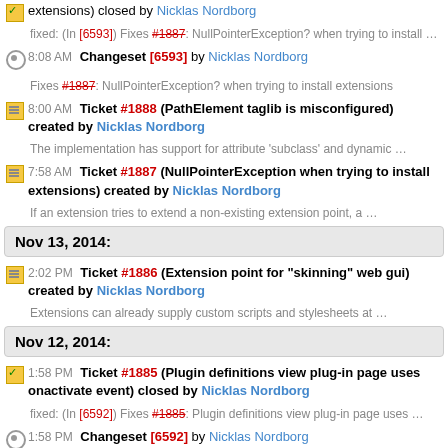extensions) closed by Nicklas Nordborg
fixed: (In [6593]) Fixes #1887: NullPointerException? when trying to install …
8:08 AM Changeset [6593] by Nicklas Nordborg
Fixes #1887: NullPointerException? when trying to install extensions
8:00 AM Ticket #1888 (PathElement taglib is misconfigured) created by Nicklas Nordborg
The implementation has support for attribute 'subclass' and dynamic …
7:58 AM Ticket #1887 (NullPointerException when trying to install extensions) created by Nicklas Nordborg
If an extension tries to extend a non-existing extension point, a …
Nov 13, 2014:
2:02 PM Ticket #1886 (Extension point for "skinning" web gui) created by Nicklas Nordborg
Extensions can already supply custom scripts and stylesheets at …
Nov 12, 2014:
1:58 PM Ticket #1885 (Plugin definitions view plug-in page uses onactivate event) closed by Nicklas Nordborg
fixed: (In [6592]) Fixes #1885: Plugin definitions view plug-in page uses …
1:58 PM Changeset [6592] by Nicklas Nordborg